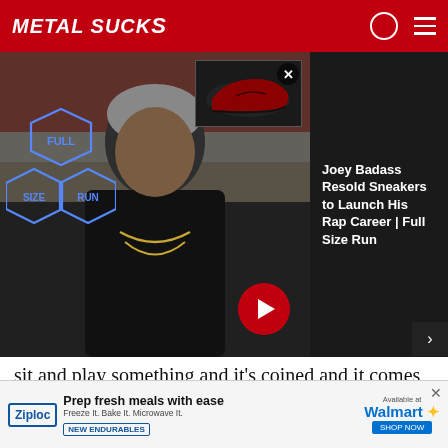METALSUCKS
[Figure (screenshot): Video thumbnail showing a man in a black t-shirt with chains/necklaces and a gray beanie, seated against a background of shoe boxes. A mini thumbnail in top-right shows red and black sneakers with a close X button. A red play/arrow button is visible at bottom-right. Full Size Run logo (cube stacks) at left. Video panel is dark.]
[Figure (other): Sidebar panel showing Joey Badass Resold Sneakers to Launch His Rap Career | Full Size Run title text on dark background]
sit and play something and it’s coined and it comes out of your head through your hands and nobody tells you to do it, that’s such a natural thing, and you don’t know where it came from. And it’s the same thing with lyrics, in the sense that I’ll sit down and start writing some shit and then get going on a flow, and I’ll write a line down and that line means something to me at all. What
[Figure (screenshot): Ziploc advertisement banner: 'Prep fresh meals with ease. Freeze It. Bake It. Microwave It. NEW ENDURABLES. Available at Walmart. SHOP NOW.']